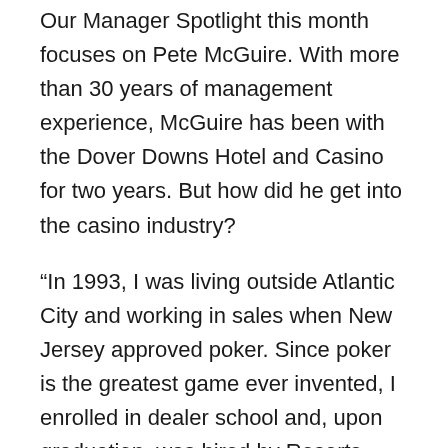Our Manager Spotlight this month focuses on Pete McGuire. With more than 30 years of management experience, McGuire has been with the Dover Downs Hotel and Casino for two years. But how did he get into the casino industry?
“In 1993, I was living outside Atlantic City and working in sales when New Jersey approved poker. Since poker is the greatest game ever invented, I enrolled in dealer school and, upon graduation, was hired by Resorts Hotel and Casino. I spent three years dealing and flooring at Resorts. In 1996, Tropicana Hotel and Casino expanded the poker room from six tables to 50 tables. I was hired by Tropicana and spent many